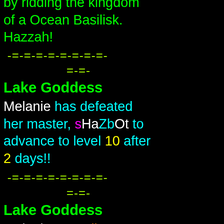by ridding the kingdom of a Ocean Basilisk. Hazzah!
-=-=-=-=-=-=-=-=-
=-=-
Lake Goddess
Melanie has defeated her master, sHaZbOt to advance to level 10 after 2 days!!
-=-=-=-=-=-=-=-=-
=-=-
Lake Goddess
Melanie got splinters from paddling the bottom of Fat Frank too hard!
-=-=-=-=-=-=-=-=-
=-=-
Sir Yoresh has defeated his master, Owlfeather to advance to level 5 after 1 day!!